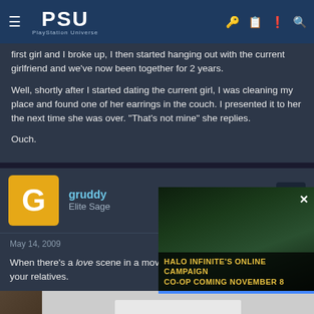PSU – PlayStation Universe
first girl and I broke up, I then started hanging out with the current girlfriend and we've now been together for 2 years.
Well, shortly after I started dating the current girl, I was cleaning my place and found one of her earrings in the couch. I presented it to her the next time she was over. "That's not mine" she replies.
Ouch.
gruddy – Elite Sage
May 14, 2009
When there's a love scene in a movie/TV your relatives.
[Figure (screenshot): Halo Infinite advertisement showing armored soldiers with text: HALO INFINITE'S ONLINE CAMPAIGN CO-OP COMING NOVEMBER 8]